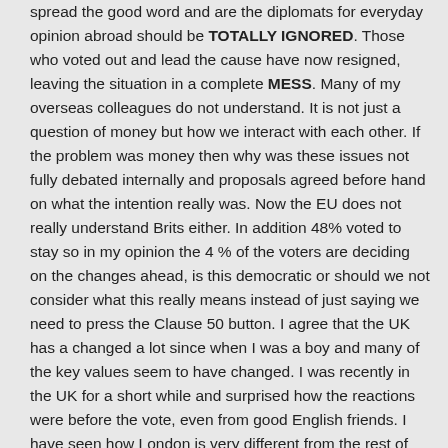spread the good word and are the diplomats for everyday opinion abroad should be TOTALLY IGNORED. Those who voted out and lead the cause have now resigned, leaving the situation in a complete MESS. Many of my overseas colleagues do not understand. It is not just a question of money but how we interact with each other. If the problem was money then why was these issues not fully debated internally and proposals agreed before hand on what the intention really was. Now the EU does not really understand Brits either. In addition 48% voted to stay so in my opinion the 4 % of the voters are deciding on the changes ahead, is this democratic or should we not consider what this really means instead of just saying we need to press the Clause 50 button. I agree that the UK has a changed a lot since when I was a boy and many of the key values seem to have changed. I was recently in the UK for a short while and surprised how the reactions were before the vote, even from good English friends. I have seen how London is very different from the rest of the UK not always for the better in many cases. However if London wants to me multi-cultural and business-like they have to consider the rest of the country's feelings. It seems the source of the problem lies in the politicians not having